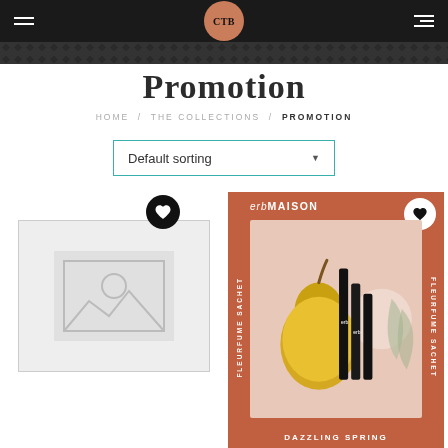CTB — Header navigation bar with logo
Promotion
HOME / THE COLLECTIONS / PROMOTION
Default sorting
[Figure (photo): Placeholder product image (no image available icon)]
[Figure (photo): erb MAISON FLEURFUME SACHET product — Dazzling Spring, terracotta colored packaging with pear and botanical imagery, black cylindrical sticks]